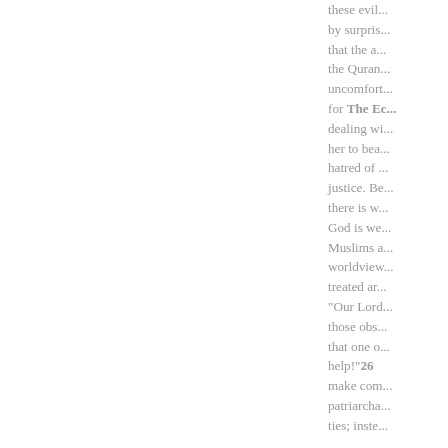these evil... by surpris... that the a... the Quran... uncomfort... for The Ec... dealing wi... her to bea... hatred of ... justice. Be... there is w... God is we... Muslims a... worldview... treated ar... "Our Lord... those obs... that one o... help!"26 make com... patriarcha... ties; inste...